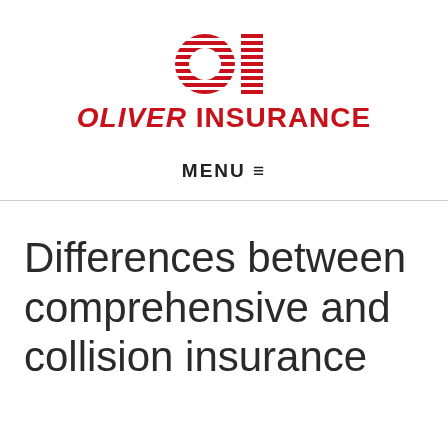[Figure (logo): Oliver Insurance logo with stylized OI letters in red with horizontal stripe pattern, and bold red text reading Oliver Insurance]
MENU ≡
Differences between comprehensive and collision insurance